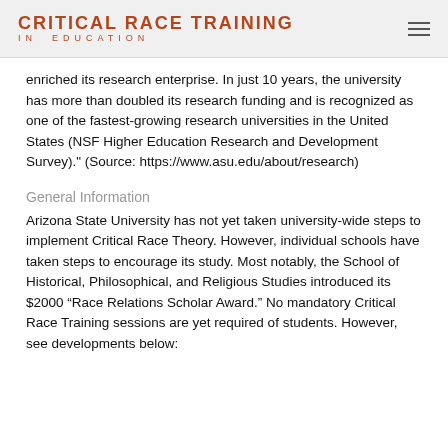CRITICAL RACE TRAINING IN EDUCATION
enriched its research enterprise. In just 10 years, the university has more than doubled its research funding and is recognized as one of the fastest-growing research universities in the United States (NSF Higher Education Research and Development Survey)." (Source: https://www.asu.edu/about/research)
General Information
Arizona State University has not yet taken university-wide steps to implement Critical Race Theory. However, individual schools have taken steps to encourage its study. Most notably, the School of Historical, Philosophical, and Religious Studies introduced its $2000 “Race Relations Scholar Award.” No mandatory Critical Race Training sessions are yet required of students. However, see developments below: